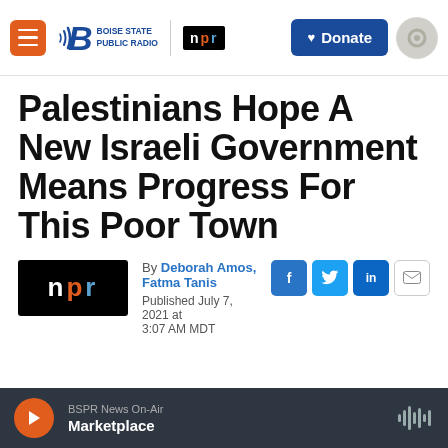Boise State Public Radio | NPR — Donate
Palestinians Hope A New Israeli Government Means Progress For This Poor Town
By Deborah Amos, Fatma Tanis
Published July 7, 2021 at 3:07 AM MDT
BSPR News On-Air — Marketplace